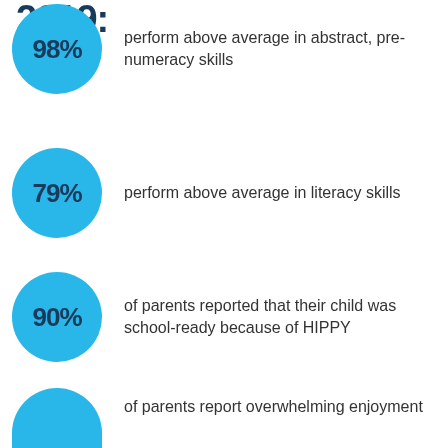2019:
[Figure (infographic): Teal circle with '98%' text, next to description: perform above average in abstract, pre-numeracy skills]
[Figure (infographic): Teal circle with '79%' text, next to description: perform above average in literacy skills]
[Figure (infographic): Teal circle with '90%' text, next to description: of parents reported that their child was school-ready because of HIPPY]
[Figure (infographic): Partial teal circle (cropped at bottom) with text, next to description: of parents report overwhelming enjoyment]